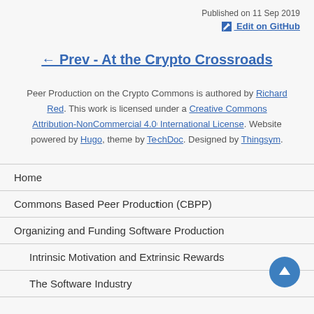Published on 11 Sep 2019
Edit on GitHub
← Prev - At the Crypto Crossroads
Peer Production on the Crypto Commons is authored by Richard Red. This work is licensed under a Creative Commons Attribution-NonCommercial 4.0 International License. Website powered by Hugo, theme by TechDoc. Designed by Thingsym.
Home
Commons Based Peer Production (CBPP)
Organizing and Funding Software Production
Intrinsic Motivation and Extrinsic Rewards
The Software Industry